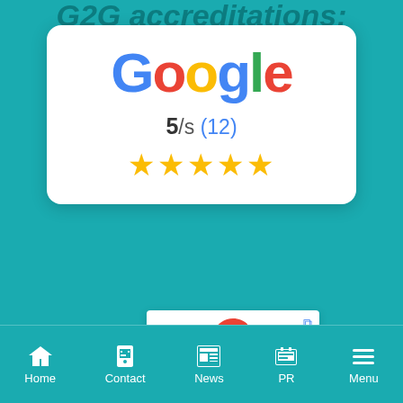G2G accreditations:
[Figure (logo): Google logo with rating card showing 5/5 (12) and 5 gold stars]
[Figure (logo): Google Partner badge card with Google G icon]
Home | Contact | News | PR | Menu